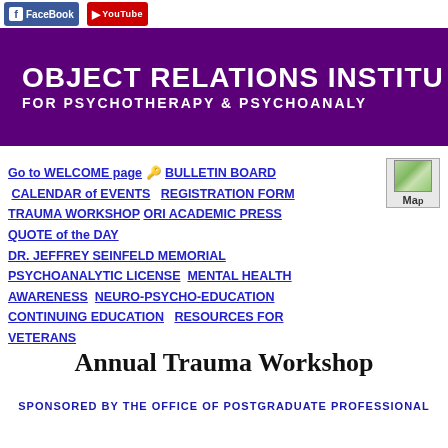Facebook  YouTube
OBJECT RELATIONS INSTITUTE FOR PSYCHOTHERAPY & PSYCHOANALYSIS
Go to WELCOME page
BULLETIN BOARD
CALENDAR of EVENTS
REGISTRATION FORM
TRAUMA WORKSHOP
ORI ACADEMIC PRESS
QUOTE of the DAY
DR. JEFFREY SEINFELD MEMORIAL
PSYCHOANALYTIC LICENSE
MENTAL HEALTH AWARENESS
NEURO-PSYCHO-EDUCATION
CONTINUING EDUCATION
RESOURCES FOR VETERANS
Annual Trauma Workshop
SPONSORED BY THE OFFICE OF POSTGRADUATE PROFESSIONAL